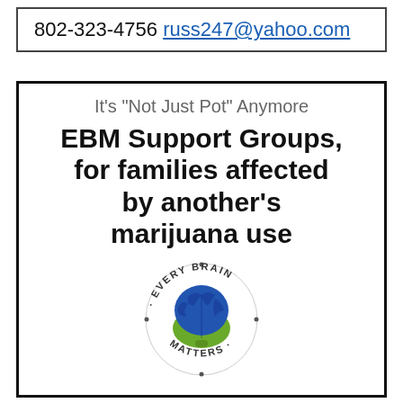802-323-4756 russ247@yahoo.com
It's "Not Just Pot" Anymore
EBM Support Groups, for families affected by another's marijuana use
[Figure (logo): Every Brain Matters circular logo with a blue and green brain illustration in the center, surrounded by the text 'EVERY BRAIN MATTERS']